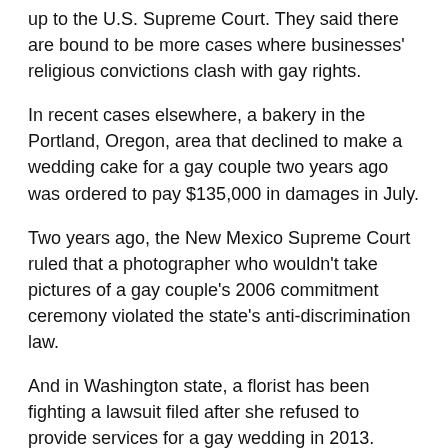up to the U.S. Supreme Court. They said there are bound to be more cases where businesses' religious convictions clash with gay rights.
In recent cases elsewhere, a bakery in the Portland, Oregon, area that declined to make a wedding cake for a gay couple two years ago was ordered to pay $135,000 in damages in July.
Two years ago, the New Mexico Supreme Court ruled that a photographer who wouldn't take pictures of a gay couple's 2006 commitment ceremony violated the state's anti-discrimination law.
And in Washington state, a florist has been fighting a lawsuit filed after she refused to provide services for a gay wedding in 2013.